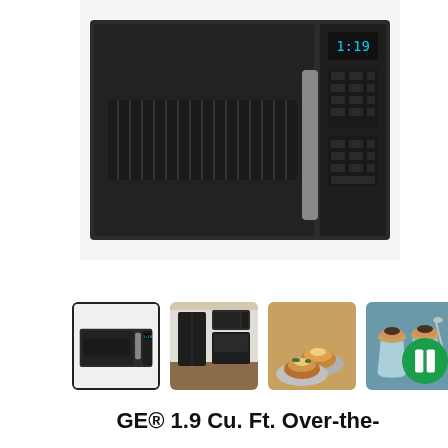[Figure (photo): GE over-the-range microwave oven in black slate finish, front view showing the control panel with digital display showing 1:19, keypad buttons, and a silver handle. The door has a ribbed ventilation grille on the left.]
[Figure (photo): Thumbnail 1: GE over-the-range microwave in black slate, selected/highlighted thumbnail with border]
[Figure (photo): Thumbnail 2: Kitchen scene with GE black slate appliances including microwave and refrigerator]
[Figure (photo): Thumbnail 3: Baked potatoes and food on plates, suggesting microwave cooking capability]
[Figure (photo): Thumbnail 4: Dessert in glass serving cups with chat/support badge overlay]
GE® 1.9 Cu. Ft. Over-the-